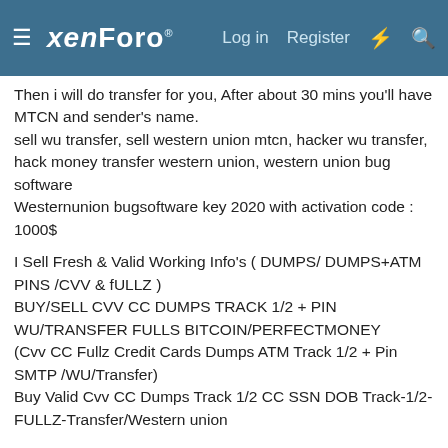xenForo  Log in  Register
Then i will do transfer for you, After about 30 mins you'll have MTCN and sender's name.
sell wu transfer, sell western union mtcn, hacker wu transfer, hack money transfer western union, western union bug software
Westernunion bugsoftware key 2020 with activation code : 1000$
I Sell Fresh & Valid Working Info's ( DUMPS/ DUMPS+ATM PINS /CVV & fULLZ )
BUY/SELL CVV CC DUMPS TRACK 1/2 + PIN WU/TRANSFER FULLS BITCOIN/PERFECTMONEY
(Cvv CC Fullz Credit Cards Dumps ATM Track 1/2 + Pin SMTP /WU/Transfer)
Buy Valid Cvv CC Dumps Track 1/2 CC SSN DOB Track-1/2-FULLZ-Transfer/Western union
SELL PAYPAL VERIFIED ACCOUNT
WITH BALANCE LOGIN MAIL PASSWORD + SOCK IP This is list of price :